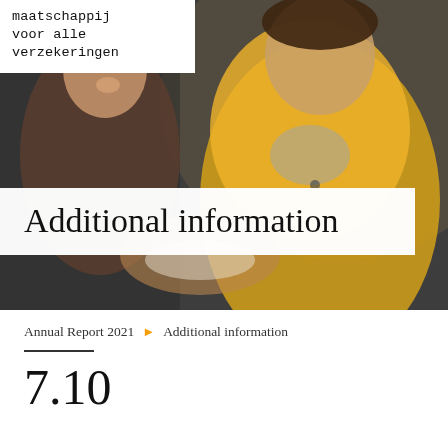[Figure (photo): Two young people looking at something together — a smiling woman with long dark hair and a young man in a bright yellow jacket, appearing to work on something with their hands.]
maatschappij
voor alle
verzekeringen
Additional information
Annual Report 2021 > Additional information
7.10